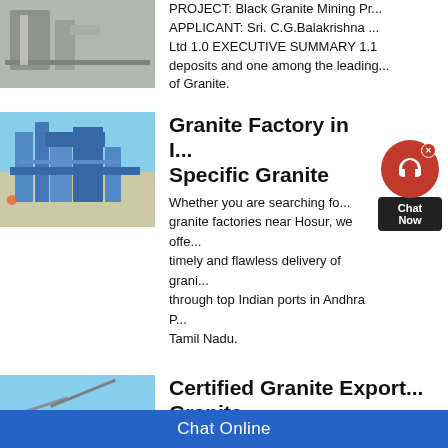[Figure (photo): Industrial equipment or machinery, appears to be some kind of facility with pipes and equipment, partially cropped at top]
PROJECT: Black Granite Mining Pr... APPLICANT: Sri. C.G.Balakrishna ... Ltd 1.0 EXECUTIVE SUMMARY 1.1... deposits and one among the leading... of Granite.
[Figure (photo): Industrial mining or processing facility with blue steel framework structures under a clear blue sky]
Granite Factory in I... Specific Granite
Whether you are searching fo... granite factories near Hosur, we offe... timely and flawless delivery of grani... through top Indian ports in Andhra P... Tamil Nadu.
[Figure (photo): Outdoor industrial or mining area scene, blue sky visible]
Certified Granite Export... Granite
About Granite, Indian G...